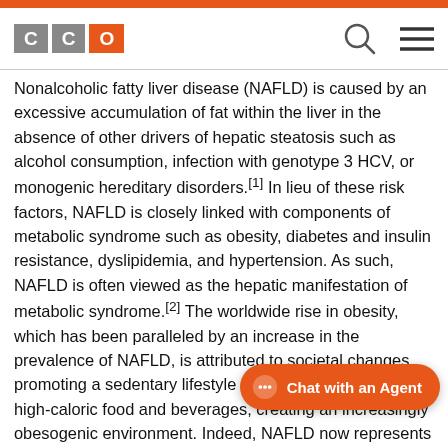[Figure (logo): CCO logo with two grey square C letters and one orange square O letter]
Nonalcoholic fatty liver disease (NAFLD) is caused by an excessive accumulation of fat within the liver in the absence of other drivers of hepatic steatosis such as alcohol consumption, infection with genotype 3 HCV, or monogenic hereditary disorders.[1] In lieu of these risk factors, NAFLD is closely linked with components of metabolic syndrome such as obesity, diabetes and insulin resistance, dyslipidemia, and hypertension. As such, NAFLD is often viewed as the hepatic manifestation of metabolic syndrome.[2] The worldwide rise in obesity, which has been paralleled by an increase in the prevalence of NAFLD, is attributed to societal changes promoting a sedentary lifestyle and broadening access to high-caloric food and beverages, creating an increasingly obesogenic environment. Indeed, NAFLD now represents the cause of abnormal liver blood tests and chronic liver